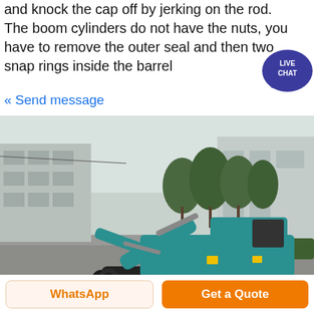and knock the cap off by jerking on the rod. The boom cylinders do not have the nuts, you have to remove the outer seal and then two snap rings inside the barrel
« Send message
[Figure (photo): A teal/turquoise mini excavator with a bucket attachment, parked on a concrete surface next to a row of trees and industrial buildings in the background.]
WhatsApp
Get a Quote